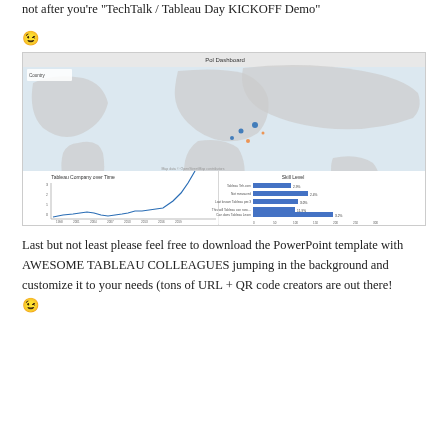not after you’re “TechTalk / Tableau Day KICKOFF Demo”
😉
[Figure (screenshot): Tableau dashboard screenshot showing a world map with data points over Europe, a line chart titled 'Tableau Company over Time', and a horizontal bar chart titled 'Skill Level' with bars for various Tableau skills.]
Last but not least please feel free to download the PowerPoint template with AWESOME TABLEAU COLLEAGUES jumping in the background and customize it to your needs (tons of URL + QR code creators are out there! 😉